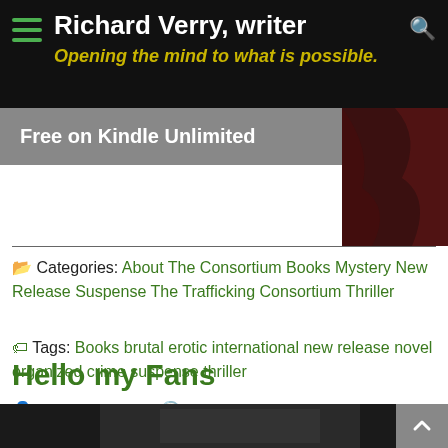Richard Verry, writer — Opening the mind to what is possible.
Free on Kindle Unlimited
Categories: About The Consortium Books Mystery New Release Suspense The Trafficking Consortium Thriller
Tags: Books brutal erotic international new release novel organized crime suspense thriller
Hello my Fans
Richard Verry  June 16, 2017